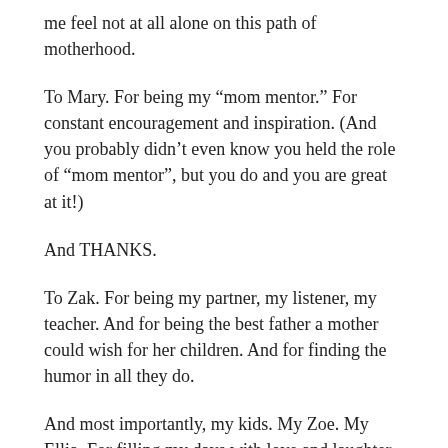me feel not at all alone on this path of motherhood.
To Mary. For being my “mom mentor.” For constant encouragement and inspiration. (And you probably didn’t even know you held the role of “mom mentor”, but you do and you are great at it!)
And THANKS.
To Zak. For being my partner, my listener, my teacher. And for being the best father a mother could wish for her children. And for finding the humor in all they do.
And most importantly, my kids. My Zoe. My Ellia. For filling my days with love and laughter. For being the darn cutest guinea pigs as I attempt to figure out